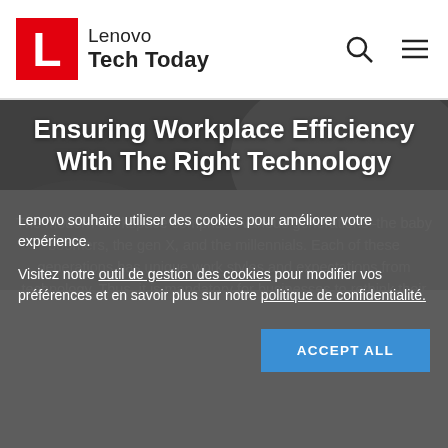Lenovo Tech Today
Ensuring Workplace Efficiency With The Right Technology
The modern workspace comprises various generations–the baby boomers, the gen X, and the millennials. Each of these generations has unique work styles and expectations from technology. Thus, it is mandatory for businesses to rethink their workspace
Lenovo souhaite utiliser des cookies pour améliorer votre expérience.
Visitez notre outil de gestion des cookies pour modifier vos préférences et en savoir plus sur notre politique de confidentialité.
ACCEPT ALL